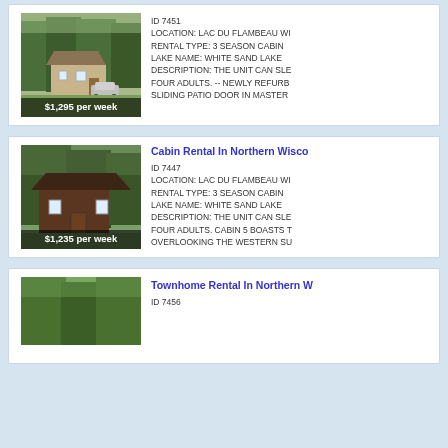[Figure (photo): Cabin surrounded by trees with a car parked outside, price overlay $1,295 per week]
ID 7451
LOCATION: LAC DU FLAMBEAU WI
RENTAL TYPE: 3 SEASON CABIN
LAKE NAME: WHITE SAND LAKE
DESCRIPTION: THE UNIT CAN SLE... FOUR ADULTS. -- NEWLY REFURB... SLIDING PATIO DOOR IN MASTER...
Cabin Rental In Northern Wisco...
[Figure (photo): Dark brown log cabin in forest setting, price overlay $1,235 per week]
ID 7447
LOCATION: LAC DU FLAMBEAU WI
RENTAL TYPE: 3 SEASON CABIN
LAKE NAME: WHITE SAND LAKE
DESCRIPTION: THE UNIT CAN SLE... FOUR ADULTS. CABIN 5 BOASTS T... OVERLOOKING THE WESTERN SU...
Townhome Rental In Northern W...
[Figure (photo): Trees and cabin exterior, third listing photo]
ID 7456